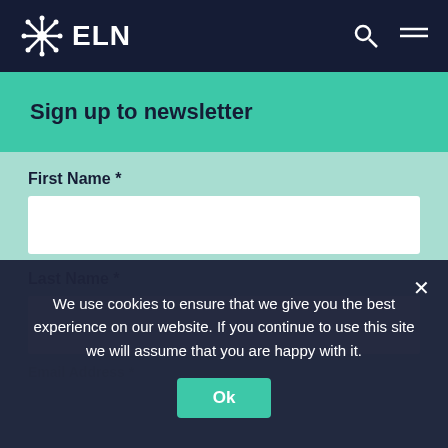ELN
Sign up to newsletter
First Name *
Last Name *
We use cookies to ensure that we give you the best experience on our website. If you continue to use this site we will assume that you are happy with it.
Ok